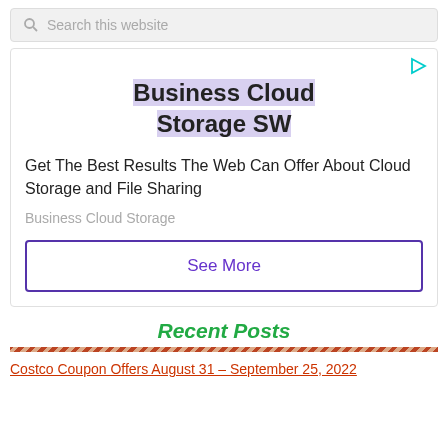Search this website
[Figure (other): Advertisement box for Business Cloud Storage SW with title, body text, subtext, and See More button]
Recent Posts
Costco Coupon Offers August 31 – September 25, 2022